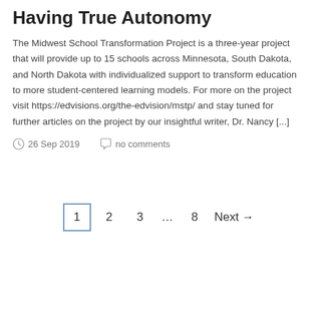Having True Autonomy
The Midwest School Transformation Project is a three-year project that will provide up to 15 schools across Minnesota, South Dakota, and North Dakota with individualized support to transform education to more student-centered learning models. For more on the project visit https://edvisions.org/the-edvision/mstp/ and stay tuned for further articles on the project by our insightful writer, Dr. Nancy [...]
26 Sep 2019   no comments
1  2  3  …  8  Next →